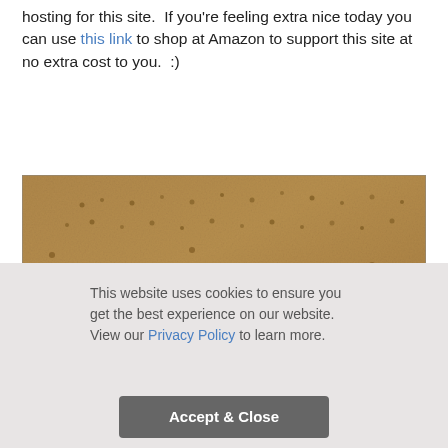hosting for this site.  If you're feeling extra nice today you can use this link to shop at Amazon to support this site at no extra cost to you.  :)
[Figure (photo): Close-up photograph of sandy ground showing animal footprints and small indentations in the dirt/sand surface]
This website uses cookies to ensure you get the best experience on our website. View our Privacy Policy to learn more.
Accept & Close